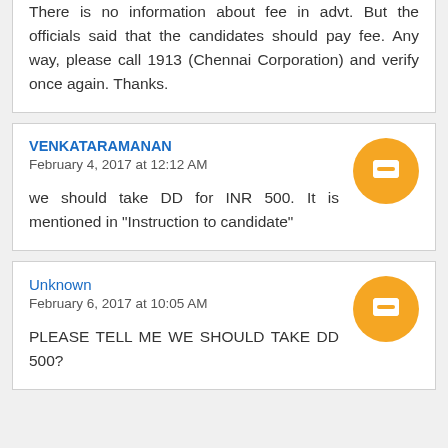There is no information about fee in advt. But the officials said that the candidates should pay fee. Any way, please call 1913 (Chennai Corporation) and verify once again. Thanks.
VENKATARAMANAN
February 4, 2017 at 12:12 AM
we should take DD for INR 500. It is mentioned in "Instruction to candidate"
Unknown
February 6, 2017 at 10:05 AM
PLEASE TELL ME WE SHOULD TAKE DD 500?